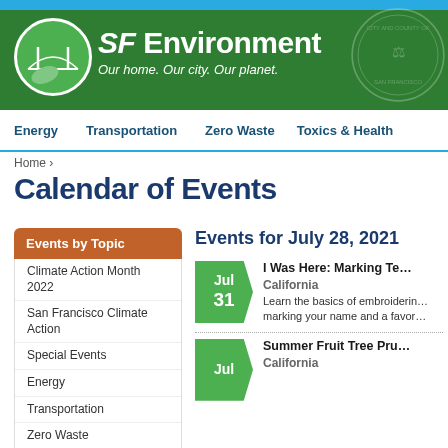[Figure (logo): SF Environment logo with Golden Gate Bridge icon in green circle]
SF Environment — Our home. Our city. Our planet.
Energy | Transportation | Zero Waste | Toxics & Health
Home ›
Calendar of Events
Events by Topic
Climate Action Month 2022
San Francisco Climate Action
Special Events
Energy
Transportation
Zero Waste
Toxics & Health
Buildings & Environments
Education & Equity
Events for July 28, 2021
I Was Here: Marking Te…
California
Learn the basics of embroiderin… marking your name and a favor…
Summer Fruit Tree Pru…
California